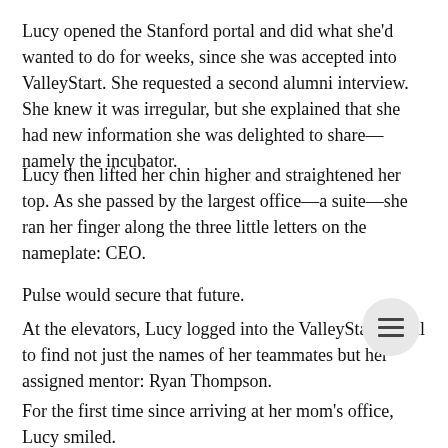Lucy opened the Stanford portal and did what she'd wanted to do for weeks, since she was accepted into ValleyStart. She requested a second alumni interview. She knew it was irregular, but she explained that she had new information she was delighted to share—namely the incubator.
Lucy then lifted her chin higher and straightened her top. As she passed by the largest office—a suite—she ran her finger along the three little letters on the nameplate: CEO.
Pulse would secure that future.
At the elevators, Lucy logged into the ValleyStart portal to find not just the names of her teammates but her assigned mentor: Ryan Thompson.
For the first time since arriving at her mom's office, Lucy smiled.